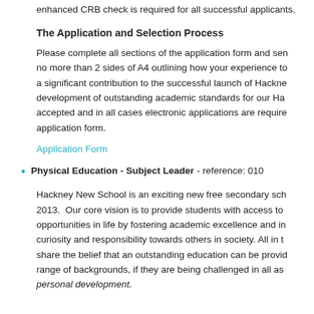enhanced CRB check is required for all successful applicants.
The Application and Selection Process
Please complete all sections of the application form and send no more than 2 sides of A4 outlining how your experience to a significant contribution to the successful launch of Hackney development of outstanding academic standards for our Hackney accepted and in all cases electronic applications are required application form.
Application Form
Physical Education - Subject Leader - reference: 010
Hackney New School is an exciting new free secondary school 2013. Our core vision is to provide students with access to opportunities in life by fostering academic excellence and intellectual curiosity and responsibility towards others in society. All in that share the belief that an outstanding education can be provided range of backgrounds, if they are being challenged in all aspects of personal development.